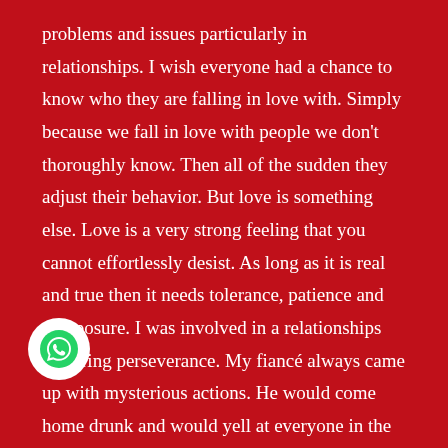problems and issues particularly in relationships. I wish everyone had a chance to know who they are falling in love with. Simply because we fall in love with people we don't thoroughly know. Then all of the sudden they adjust their behavior. But love is something else. Love is a very strong feeling that you cannot effortlessly desist. As long as it is real and true then it needs tolerance, patience and composure. I was involved in a relationships requiring perseverance. My fiancé always came up with mysterious actions. He would come home drunk and would yell at everyone in the house over negligible topics. He ended up cheating on me and wouldn't want us to talk about it, instead he would just threaten me and would point at me with his gun and slap me. My children were observing all that but I couldn't arrest him because of what I felt about him. But when i was searching about help on google,i saw Sayid contact him and asked for the binding love spell and the love stop a cheater. Soon after casting these spells my man with two days he had changed and went back to the normal guy I fell in love
[Figure (illustration): WhatsApp contact button — white circle with green WhatsApp logo]